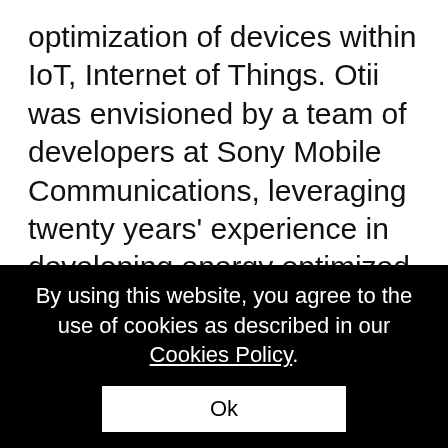optimization of devices within IoT, Internet of Things. Otii was envisioned by a team of developers at Sony Mobile Communications, leveraging twenty years' experience in developing energy optimized devices for the global telecom market. Otii launched in Europe in July 2017, and is one of the new businesses established within the Sony acceleration and incubation program in Europe. Otii is used by a growing number of
By using this website, you agree to the use of cookies as described in our Cookies Policy.
Ok